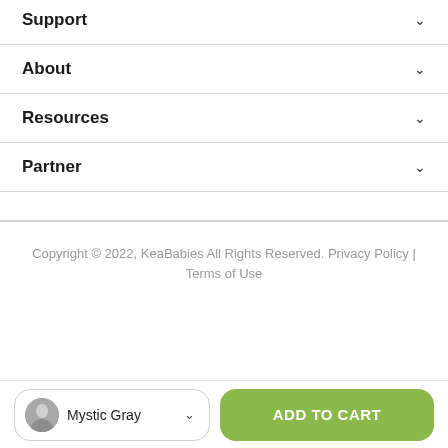Support
About
Resources
Partner
Copyright © 2022, KeaBabies All Rights Reserved. Privacy Policy | Terms of Use
Mystic Gray
ADD TO CART